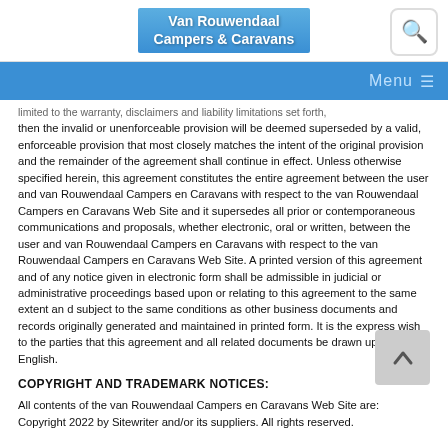Van Rouwendaal Campers & Caravans
limited to the warranty, disclaimers and liability limitations set forth, then the invalid or unenforceable provision will be deemed superseded by a valid, enforceable provision that most closely matches the intent of the original provision and the remainder of the agreement shall continue in effect. Unless otherwise specified herein, this agreement constitutes the entire agreement between the user and van Rouwendaal Campers en Caravans with respect to the van Rouwendaal Campers en Caravans Web Site and it supersedes all prior or contemporaneous communications and proposals, whether electronic, oral or written, between the user and van Rouwendaal Campers en Caravans with respect to the van Rouwendaal Campers en Caravans Web Site. A printed version of this agreement and of any notice given in electronic form shall be admissible in judicial or administrative proceedings based upon or relating to this agreement to the same extent an d subject to the same conditions as other business documents and records originally generated and maintained in printed form. It is the express wish to the parties that this agreement and all related documents be drawn up in English.
COPYRIGHT AND TRADEMARK NOTICES:
All contents of the van Rouwendaal Campers en Caravans Web Site are: Copyright 2022 by Sitewriter and/or its suppliers. All rights reserved.